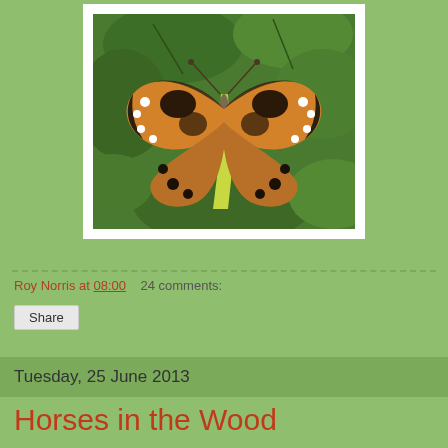[Figure (photo): A painted lady butterfly with orange, black, and white wing markings, resting with wings spread open on green leaves]
Roy Norris at 08:00    24 comments:
Share
Tuesday, 25 June 2013
Horses in the Wood